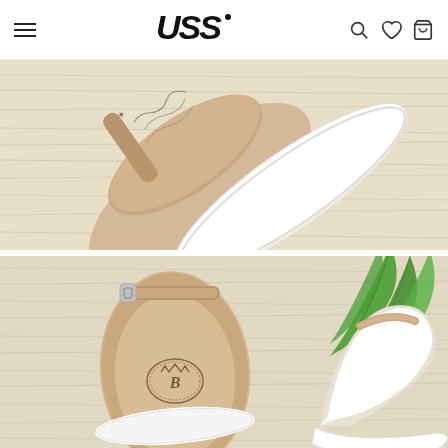USS - shoe brand website header with navigation menu, search, wishlist, and cart icons
[Figure (photo): Close-up top-down view of white women's sandals with printed design on insole, beige footbed, white thick platform sole, on a light wood grain background]
[Figure (photo): Top-down view of beige/cream women's sandal with ankle strap and buckle closure, showing brand logo embossed on insole, white platform sole, with green tropical palm leaf decoration on light wood background]